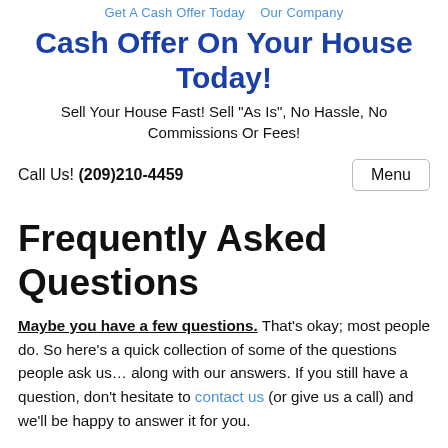Get A Cash Offer Today   Our Company
Cash Offer On Your House Today!
Sell Your House Fast! Sell "As Is", No Hassle, No Commissions Or Fees!
Call Us! (209)210-4459
Frequently Asked Questions
Maybe you have a few questions. That's okay; most people do. So here's a quick collection of some of the questions people ask us... along with our answers. If you still have a question, don't hesitate to contact us (or give us a call) and we'll be happy to answer it for you.